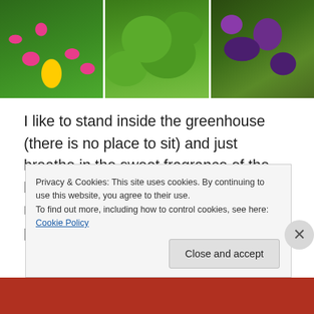[Figure (photo): Three garden photos side by side: left shows pink and yellow flowers (zinnias) with green foliage, middle shows large green leaves (bitter melon vine), right shows dark purple and green leafy plants.]
I like to stand inside the greenhouse (there is no place to sit) and just breathe in the sweet fragrance of the bitter melon. It's especially restful on a rainy morning. My tiredness, aches and pains seem to ease in the warmth
Privacy & Cookies: This site uses cookies. By continuing to use this website, you agree to their use.
To find out more, including how to control cookies, see here: Cookie Policy
Close and accept